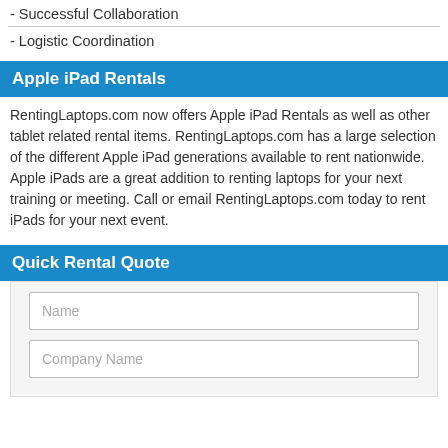- Successful Collaboration
- Logistic Coordination
Apple iPad Rentals
RentingLaptops.com now offers Apple iPad Rentals as well as other tablet related rental items. RentingLaptops.com has a large selection of the different Apple iPad generations available to rent nationwide. Apple iPads are a great addition to renting laptops for your next training or meeting. Call or email RentingLaptops.com today to rent iPads for your next event.
Quick Rental Quote
Name
Company Name